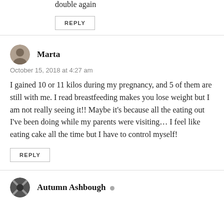double again
REPLY
Marta
October 15, 2018 at 4:27 am
I gained 10 or 11 kilos during my pregnancy, and 5 of them are still with me. I read breastfeeding makes you lose weight but I am not really seeing it!! Maybe it's because all the eating out I've been doing while my parents were visiting… I feel like eating cake all the time but I have to control myself!
REPLY
Autumn Ashbough